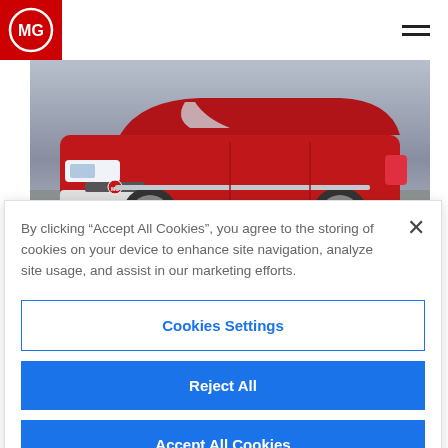[Figure (logo): MG logo — white MG letters in a circle on red background]
[Figure (photo): Red MG SUV driving on a road, motion blur on background, side/front angle view]
By clicking “Accept All Cookies”, you agree to the storing of cookies on your device to enhance site navigation, analyze site usage, and assist in our marketing efforts.
Cookies Settings
Reject All
Accept All Cookies